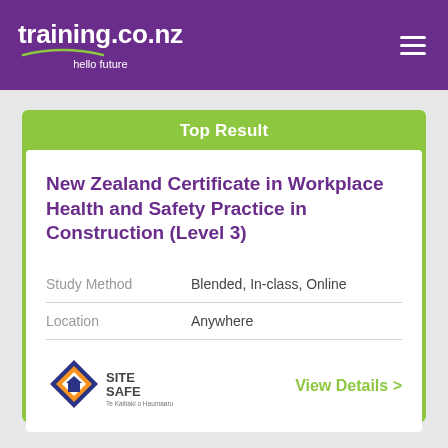training.co.nz hello future
Top Result
New Zealand Certificate in Workplace Health and Safety Practice in Construction (Level 3)
Study Method   Blended, In-class, Online
Location   Anywhere
[Figure (logo): Site Safe Te Kaitiaki o Haumaaru logo - diamond shape with house/arrow icon in orange and dark blue, with SITE SAFE text]
View Details >